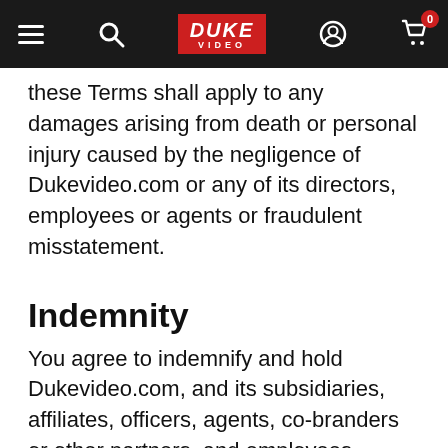Duke Video navigation bar
these Terms shall apply to any damages arising from death or personal injury caused by the negligence of Dukevideo.com or any of its directors, employees or agents or fraudulent misstatement.
Indemnity
You agree to indemnify and hold Dukevideo.com, and its subsidiaries, affiliates, officers, agents, co-branders or other partners, and employees, harmless from any claim or demand, including reasonable solicitor's fees, made by any third party due to or arising out of